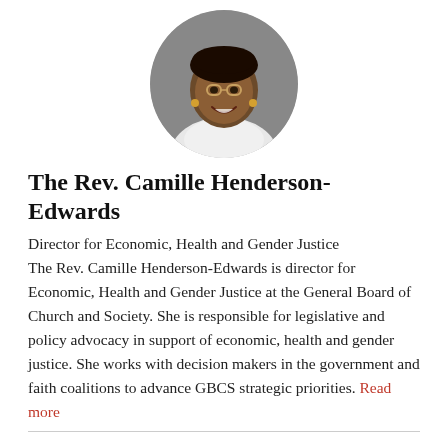[Figure (photo): Circular headshot photo of The Rev. Camille Henderson-Edwards, a smiling woman wearing glasses and a white top, against a dark background.]
The Rev. Camille Henderson-Edwards
Director for Economic, Health and Gender Justice
The Rev. Camille Henderson-Edwards is director for Economic, Health and Gender Justice at the General Board of Church and Society. She is responsible for legislative and policy advocacy in support of economic, health and gender justice. She works with decision makers in the government and faith coalitions to advance GBCS strategic priorities. Read more